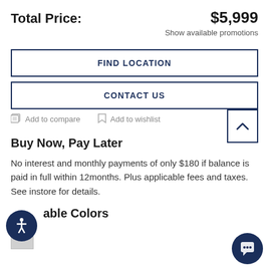Total Price: $5,999
Show available promotions
FIND LOCATION
CONTACT US
Add to compare
Add to wishlist
Buy Now, Pay Later
No interest and monthly payments of only $180 if balance is paid in full within 12months. Plus applicable fees and taxes. See instore for details.
Available Colors